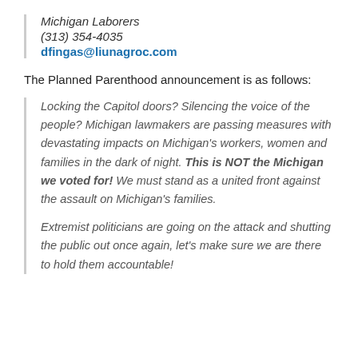Michigan Laborers
(313) 354-4035
dfingas@liunagroc.com
The Planned Parenthood announcement is as follows:
Locking the Capitol doors? Silencing the voice of the people? Michigan lawmakers are passing measures with devastating impacts on Michigan's workers, women and families in the dark of night. This is NOT the Michigan we voted for! We must stand as a united front against the assault on Michigan's families.
Extremist politicians are going on the attack and shutting the public out once again, let's make sure we are there to hold them accountable!